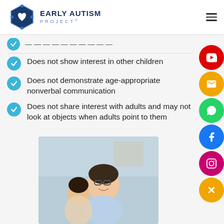[Figure (logo): Early Autism Project logo with hexagon icon and text]
Does not show interest in other children
Does not demonstrate age-appropriate nonverbal communication
Does not share interest with adults and may not look at objects when adults point to them
[Figure (photo): A smiling man with glasses and a child, appearing to work together at a table]